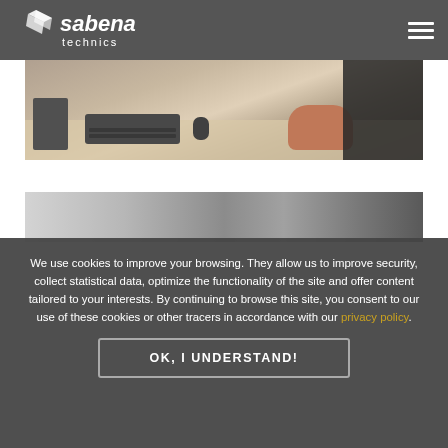sabena technics — navigation menu
[Figure (photo): Person working at a desk with keyboard, mouse, and monitor visible from above]
[Figure (photo): Partial view of a workspace with blurred equipment]
We use cookies to improve your browsing. They allow us to improve security, collect statistical data, optimize the functionality of the site and offer content tailored to your interests. By continuing to browse this site, you consent to our use of these cookies or other tracers in accordance with our privacy policy.
OK, I UNDERSTAND!